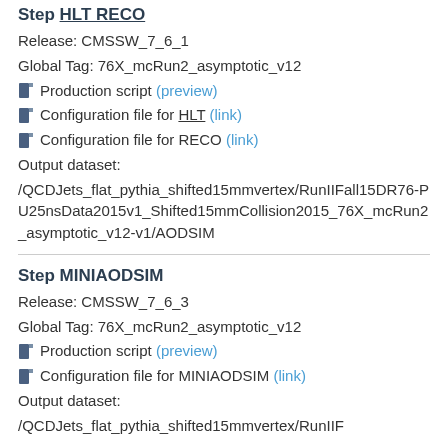Step HLT RECO
Release: CMSSW_7_6_1
Global Tag: 76X_mcRun2_asymptotic_v12
Production script (preview)
Configuration file for HLT (link)
Configuration file for RECO (link)
Output dataset:
/QCDJets_flat_pythia_shifted15mmvertex/RunIIFall15DR76-PU25nsData2015v1_Shifted15mmCollision2015_76X_mcRun2_asymptotic_v12-v1/AODSIM
Step MINIAODSIM
Release: CMSSW_7_6_3
Global Tag: 76X_mcRun2_asymptotic_v12
Production script (preview)
Configuration file for MINIAODSIM (link)
Output dataset:
/QCDJets_flat_pythia_shifted15mmvertex/RunIIF